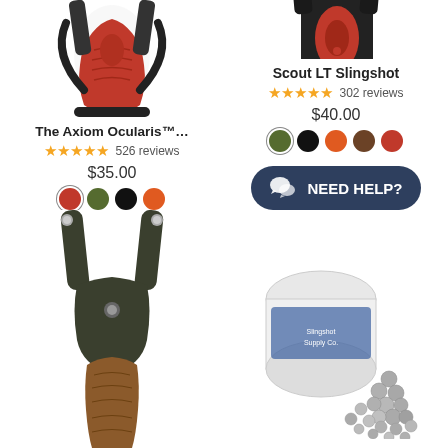[Figure (photo): Red and black Axiom Ocularis slingshot from above]
The Axiom Ocularis™…
★★★★★ 526 reviews
$35.00
[Figure (infographic): Color swatches: red (selected), olive green, black, orange]
[Figure (photo): Black Scout LT Slingshot with red grip]
Scout LT Slingshot
★★★★★ 302 reviews
$40.00
[Figure (infographic): Color swatches: green (selected), black, orange, brown, red]
[Figure (photo): Dark green/gray slingshot with wooden handle, viewed from front]
[Figure (photo): White container of slingshot ammo balls spilled out]
NEED HELP?